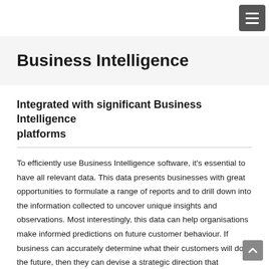Business Intelligence
Integrated with significant Business Intelligence platforms
To efficiently use Business Intelligence software, it's essential to have all relevant data. This data presents businesses with great opportunities to formulate a range of reports and to drill down into the information collected to uncover unique insights and observations. Most interestingly, this data can help organisations make informed predictions on future customer behaviour. If business can accurately determine what their customers will do in the future, then they can devise a strategic direction that emulates future customer trends.